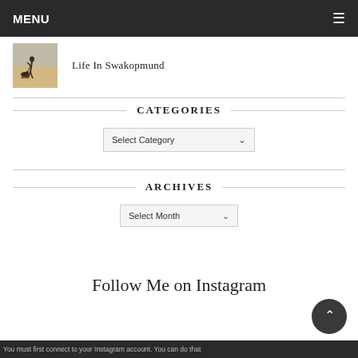MENU
[Figure (photo): Thumbnail photo of a person walking a dog on sandy terrain]
Life In Swakopmund
CATEGORIES
Select Category
ARCHIVES
Select Month
Follow Me on Instagram
You must first connect to your Instagram account. You can do that